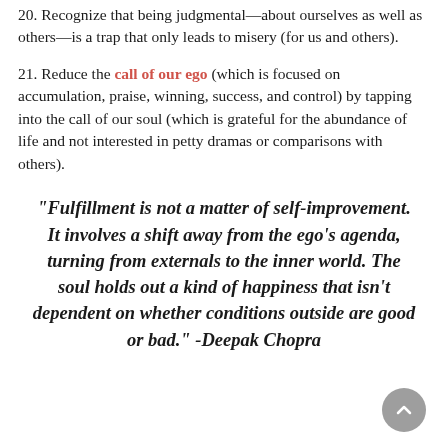20. Recognize that being judgmental—about ourselves as well as others—is a trap that only leads to misery (for us and others).
21. Reduce the call of our ego (which is focused on accumulation, praise, winning, success, and control) by tapping into the call of our soul (which is grateful for the abundance of life and not interested in petty dramas or comparisons with others).
“Fulfillment is not a matter of self-improvement. It involves a shift away from the ego’s agenda, turning from externals to the inner world. The soul holds out a kind of happiness that isn’t dependent on whether conditions outside are good or bad.” -Deepak Chopra